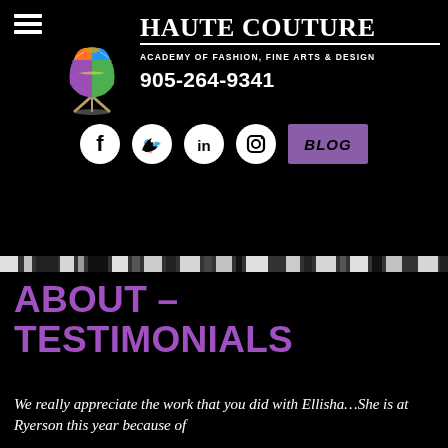[Figure (logo): Hamburger menu icon (three white horizontal bars) in top left corner]
[Figure (illustration): Colorful dress mannequin/form in rainbow colors (green, orange, purple, blue) on a stand]
HAUTE COUTURE
ACADEMY OF FASHION, FINE ARTS & DESIGN
905-264-9341
[Figure (infographic): Social media icons row: Facebook, Twitter, LinkedIn, Instagram (all white circles with black icons), and a purple BLOG button]
[Figure (illustration): Zebra-print horizontal decorative divider strip]
ABOUT – TESTIMONIALS
We really appreciate the work that you did with Ellisha…She is at Ryerson this year because of